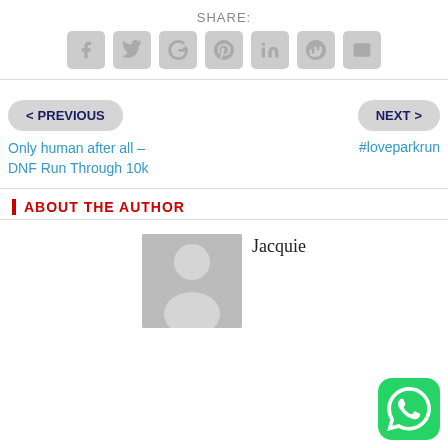SHARE:
[Figure (infographic): Social share icons: Facebook, Twitter, Google+, Pinterest, LinkedIn, StumbleUpon, Email]
< PREVIOUS
NEXT >
Only human after all – DNF Run Through 10k
#loveparkrun
ABOUT THE AUTHOR
[Figure (photo): Default user avatar placeholder image (grey silhouette)]
Jacquie
[Figure (logo): WhatsApp green icon button in bottom right corner]